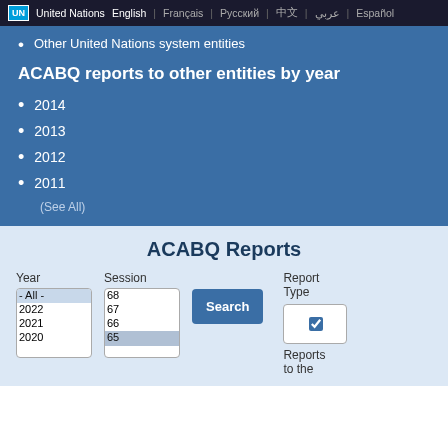UN United Nations English | Français | Русский | 中文 | عربي | Español
Other United Nations system entities
ACABQ reports to other entities by year
2014
2013
2012
2011
(See All)
ACABQ Reports
Year | Session | Report Type | Search | - All - | 2022 | 2021 | 2020 | 68 | 67 | 66 | 65 | Reports to the